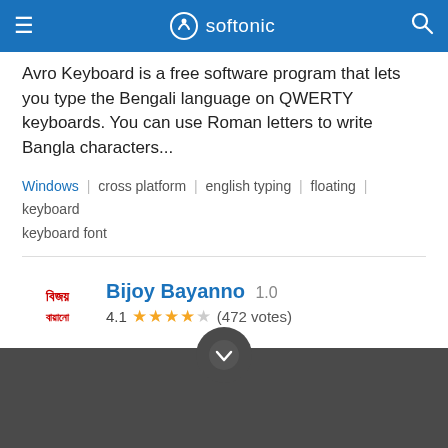softonic
Avro Keyboard is a free software program that lets you type the Bengali language on QWERTY keyboards. You can use Roman letters to write Bangla characters...
Windows | cross platform | english typing | floating | keyboard | keyboard font
Bijoy Bayanno 1.0 — 4.1 (472 votes)
Free Download for Windows
Easily type Bangla script
Bijoy Bayanno is a system utility that enables you to directly type